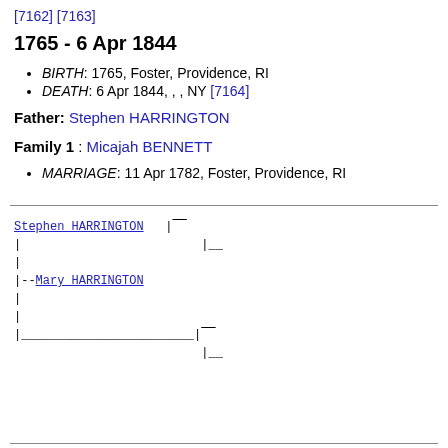[7162] [7163]
1765 - 6 Apr 1844
BIRTH: 1765, Foster, Providence, RI
DEATH: 6 Apr 1844, , , NY [7164]
Father: Stephen HARRINGTON
Family 1 : Micajah BENNETT
MARRIAGE: 11 Apr 1782, Foster, Providence, RI
[Figure (other): Genealogical ancestry tree diagram showing Stephen HARRINGTON at top connected with lines, Mary HARRINGTON in middle, and blank entries below, rendered in monospace with vertical and horizontal line connectors.]